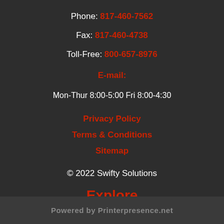Phone: 817-460-7562
Fax: 817-460-4738
Toll-Free: 800-657-8976
E-mail:
Mon-Thur 8:00-5:00 Fri 8:00-4:30
Privacy Policy
Terms & Conditions
Sitemap
© 2022 Swifty Solutions
Explore
Products
Get a Quote
Client Login
Powered by Printerpresence.net